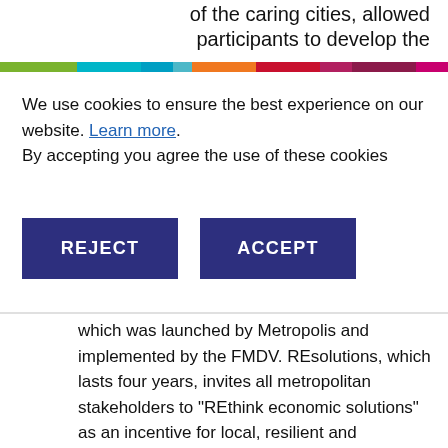of the caring cities, allowed participants to develop the
We use cookies to ensure the best experience on our website. Learn more. By accepting you agree the use of these cookies
REJECT
ACCEPT
which was launched by Metropolis and implemented by the FMDV. REsolutions, which lasts four years, invites all metropolitan stakeholders to “REthink economic solutions” as an incentive for local, resilient and sustained development. REsolutions aims to identify, analyse, transfer and implement pilot economic and